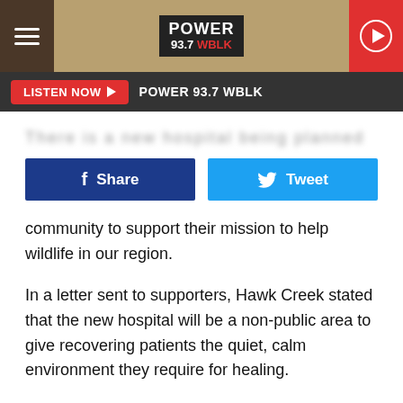[Figure (screenshot): Power 93.7 WBLK radio station website header with hamburger menu, logo, and play button]
LISTEN NOW ▶  POWER 93.7 WBLK
There is a new hospital being planned for the East Aurora...
[Figure (infographic): Facebook Share button and Twitter Tweet button]
community to support their mission to help wildlife in our region.
In a letter sent to supporters, Hawk Creek stated that the new hospital will be a non-public area to give recovering patients the quiet, calm environment they require for healing.
One of the most inspiring stories from Hawk Creek was posted on their Facebook recently.